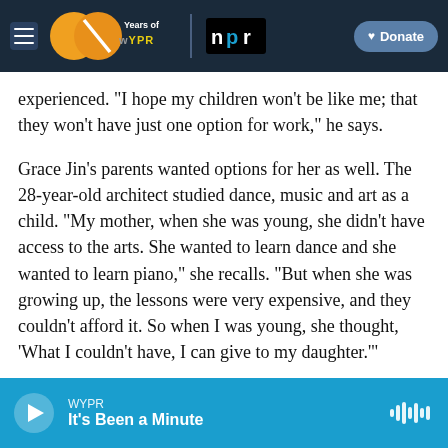[Figure (screenshot): WYPR 20 Years navigation bar with hamburger menu, WYPR 20 Years of logo, NPR logo, and Donate button on dark navy background]
experienced. "I hope my children won't be like me; that they won't have just one option for work," he says.
Grace Jin's parents wanted options for her as well. The 28-year-old architect studied dance, music and art as a child. "My mother, when she was young, she didn't have access to the arts. She wanted to learn dance and she wanted to learn piano," she recalls. "But when she was growing up, the lessons were very expensive, and they couldn't afford it. So when I was young, she thought, 'What I couldn't have, I can give to my daughter.'"
[Figure (screenshot): Audio player bar in blue showing WYPR station name and 'It's Been a Minute' podcast title with play button and audio waveform icon]